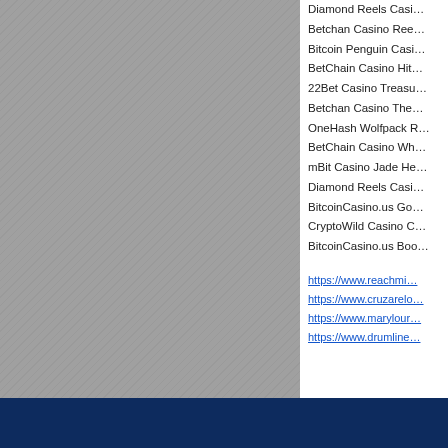[Figure (other): Gray textured background panel on the left side of the page]
Diamond Reels Casi…
Betchan Casino Ree…
Bitcoin Penguin Casi…
BetChain Casino Hit…
22Bet Casino Treasu…
Betchan Casino The…
OneHash Wolfpack R…
BetChain Casino Wh…
mBit Casino Jade He…
Diamond Reels Casi…
BitcoinCasino.us Go…
CryptoWild Casino C…
BitcoinCasino.us Boo…
https://www.reachmi…
https://www.cruzarelo…
https://www.marylour…
https://www.drumline…